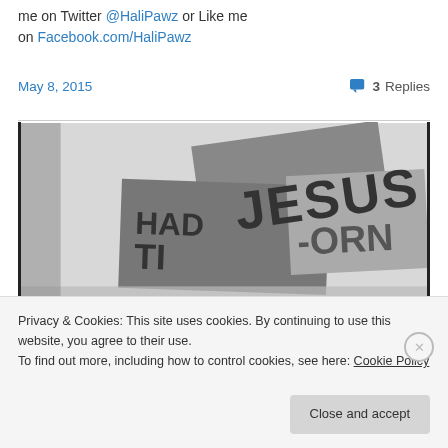me on Twitter @HaliPawz or Like me on Facebook.com/HaliPawz
May 8, 2015
3 Replies
[Figure (photo): Black and white photo of protest signs reading 'JESUS HAD TWO...' and partially visible text '-ORN']
Privacy & Cookies: This site uses cookies. By continuing to use this website, you agree to their use.
To find out more, including how to control cookies, see here: Cookie Policy